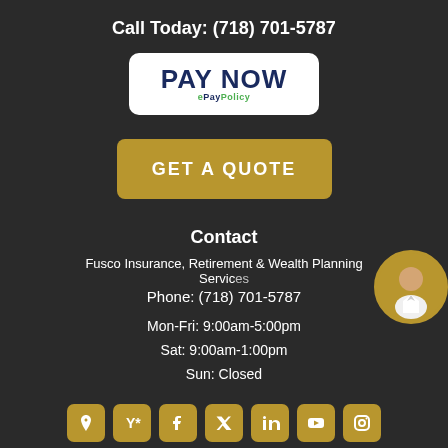Call Today: (718) 701-5787
[Figure (other): PAY NOW button with ePayPolicy branding, white rounded rectangle]
[Figure (other): GET A QUOTE gold/tan rounded button]
Contact
Fusco Insurance, Retirement & Wealth Planning Services
Phone: (718) 701-5787
Mon-Fri: 9:00am-5:00pm
Sat: 9:00am-1:00pm
Sun: Closed
[Figure (other): Row of 7 social media icons (location, Yelp, Facebook, Twitter, LinkedIn, YouTube, Instagram) in gold rounded square buttons]
[Figure (photo): Circular agent headshot photo in gold circle, positioned right side]